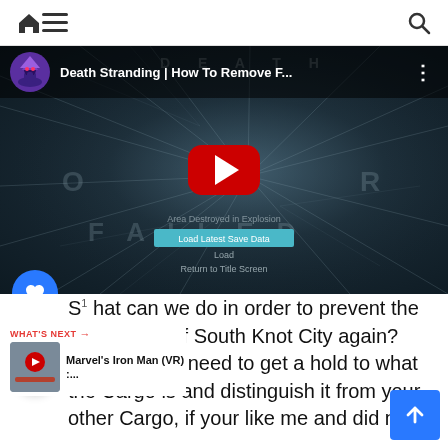Navigation bar with home, menu, and search icons
[Figure (screenshot): YouTube video thumbnail for 'Death Stranding | How To Remove F...' showing a game over screen with shattered glass effect, red YouTube play button overlay, channel avatar of a wizard character, and game UI elements including 'Area Destroyed in Explosion', 'Load Latest Save Data', 'Load', 'Return to Title Screen' buttons]
So what can we do in order to prevent the destruction of South Knot City again? Well first you need to get a hold to what the Cargo is and distinguish it from your other Cargo, if your like me and did not catch on with that past Higgs cutscene or just wasn't
WHAT'S NEXT → Marvel's Iron Man (VR) :...